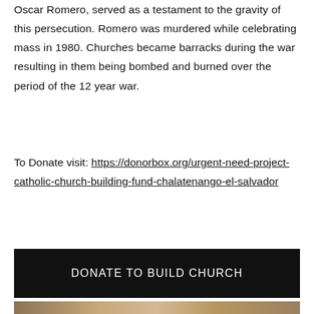Oscar Romero, served as a testament to the gravity of this persecution. Romero was murdered while celebrating mass in 1980. Churches became barracks during the war resulting in them being bombed and burned over the period of the 12 year war.
To Donate visit: https://donorbox.org/urgent-need-project-catholic-church-building-fund-chalatenango-el-salvador
DONATE TO BUILD CHURCH
[Figure (photo): Bottom portion of a photograph showing archaeological or natural stone/rock imagery, partially visible at the bottom of the page]